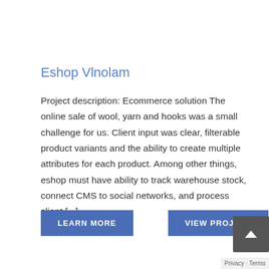Eshop Vlnolam
Project description: Ecommerce solution The online sale of wool, yarn and hooks was a small challenge for us. Client input was clear, filterable product variants and the ability to create multiple attributes for each product. Among other things, eshop must have ability to track warehouse stock, connect CMS to social networks, and process client [...]
LEARN MORE
VIEW PROJECT